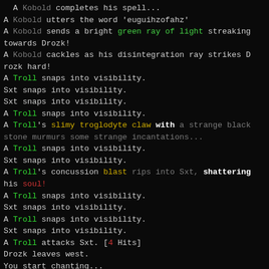A Kobold completes his spell...
A Kobold utters the word 'euguihzofahz'
A Kobold sends a bright green ray of light streaking towards Drozk!
A Kobold cackles as his disintegration ray strikes D rozk hard!
A Troll snaps into visibility.
Sxt snaps into visibility.
Sxt snaps into visibility.
A Troll snaps into visibility.
A Troll's slimy troglodyte claw with a strange black stone murmurs some strange incantations...
A Troll snaps into visibility.
Sxt snaps into visibility.
A Troll's concussion blast rips into Sxt, shattering his soul!
A Troll snaps into visibility.
Sxt snaps into visibility.
A Troll snaps into visibility.
Sxt snaps into visibility.
A Troll attacks Sxt. [4 Hits]
Drozk leaves west.
You start chanting...
You feel your skill in quick chant improving.